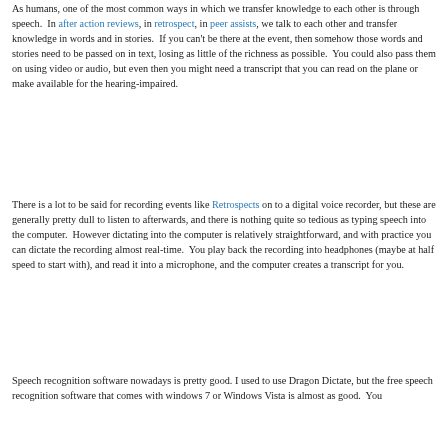As humans, one of the most common ways in which we transfer knowledge to each other is through speech. In after action reviews, in retrospect, in peer assists, we talk to each other and transfer knowledge in words and in stories. If you can't be there at the event, then somehow those words and stories need to be passed on in text, losing as little of the richness as possible. You could also pass them on using video or audio, but even then you might need a transcript that you can read on the plane or make available for the hearing-impaired.
There is a lot to be said for recording events like Retrospects on to a digital voice recorder, but these are generally pretty dull to listen to afterwards, and there is nothing quite so tedious as typing speech into the computer. However dictating into the computer is relatively straightforward, and with practice you can dictate the recording almost real-time. You play back the recording into headphones (maybe at half speed to start with), and read it into a microphone, and the computer creates a transcript for you.
Speech recognition software nowadays is pretty good. I used to use Dragon Dictate, but the free speech recognition software that comes with windows 7 or Windows Vista is almost as good. You